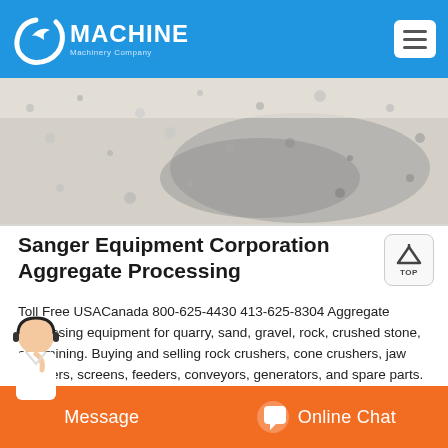[Figure (logo): C Machine Machinery Company logo - white C shape with bird/wave icon on blue header background]
[Figure (photo): Aerial or close-up photo of aggregate/gravel/crushed stone material, light gray and white colored rocks or sand]
Sanger Equipment Corporation Aggregate Processing
Toll Free USACanada 800-625-4430 413-625-8304 Aggregate processing equipment for quarry, sand, gravel, rock, crushed stone, and mining. Buying and selling rock crushers, cone crushers, jaw crushers, screens, feeders, conveyors, generators, and spare parts. Dealer in Gator and Edison Machinery.
[Figure (screenshot): Orange footer bar with Message button on left and Online Chat button on right with headset icon, plus customer service avatar on bottom left]